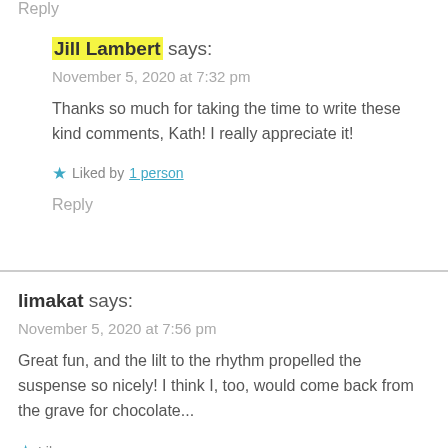Reply
Jill Lambert says:
November 5, 2020 at 7:32 pm
Thanks so much for taking the time to write these kind comments, Kath! I really appreciate it!
★ Liked by 1 person
Reply
limakat says:
November 5, 2020 at 7:56 pm
Great fun, and the lilt to the rhythm propelled the suspense so nicely! I think I, too, would come back from the grave for chocolate...
★ Like
Reply